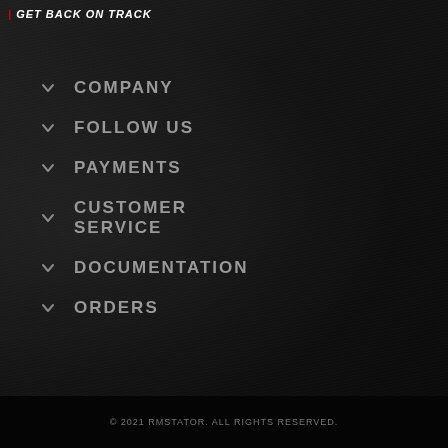GET BACK ON TRACK
COMPANY
FOLLOW US
PAYMENTS
CUSTOMER SERVICE
DOCUMENTATION
ORDERS
© 2021 RMSTATOR. ALL RIGHTS RESERVED.